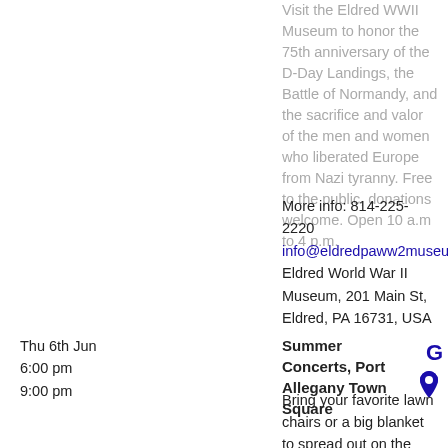Visit the Eldred WWII Museum to honor the 75th anniversary of the D-Day Landings, the Battle of Normandy, and the sacrifice and valor of the men and women who liberated Europe from Nazi tyranny. Free to the public, donations welcome. Open 10 a.m to 4 p.m.
More info: 814-225-2220
info@eldredpaww2museum.com
Eldred World War II Museum, 201 Main St, Eldred, PA 16731, USA
Thu 6th Jun
6:00 pm
9:00 pm
Summer Concerts, Port Allegany Town Square
Bring your favorite lawn chairs or a big blanket to spread out on the grass. It's a casual summer evening of warm breezes and great music for all ages. With free admission, free parking and free entertainment everyone can attend. For more information call: 814-642-5171or visit:
www.townsquareconcerts.com